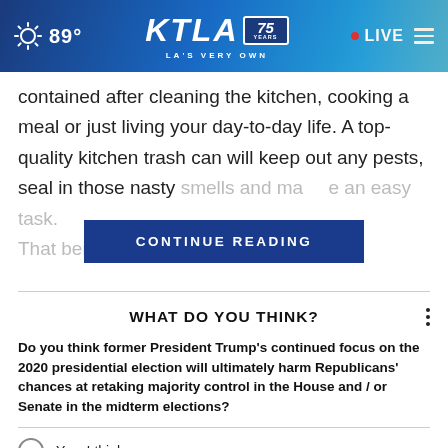KTLA 75 YEARS – LA'S VERY OWN | 89° | LIVE
contained after cleaning the kitchen, cooking a meal or just living your day-to-day life. A top-quality kitchen trash can will keep out any pests, seal in those nasty smells and make an easy task. That being said, or which
CONTINUE READING
WHAT DO YOU THINK?
Do you think former President Trump's continued focus on the 2020 presidential election will ultimately harm Republicans' chances at retaking majority control in the House and / or Senate in the midterm elections?
Yes, I think so
Maybe, I'm not sure